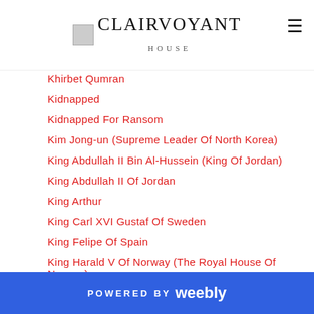CLAIRVOYANT HOUSE
Khirbet Qumran
Kidnapped
Kidnapped For Ransom
Kim Jong-un (Supreme Leader Of North Korea)
King Abdullah II Bin Al-Hussein (King Of Jordan)
King Abdullah II Of Jordan
King Arthur
King Carl XVI Gustaf Of Sweden
King Felipe Of Spain
King Harald V Of Norway (The Royal House Of Norway)
King Maha Vajiralongkorn
King Of Macedonia
King Of Thailand - The New King Rama X
King Philippe Of Belgium
King Salman Of Saudi Arabia
POWERED BY weebly